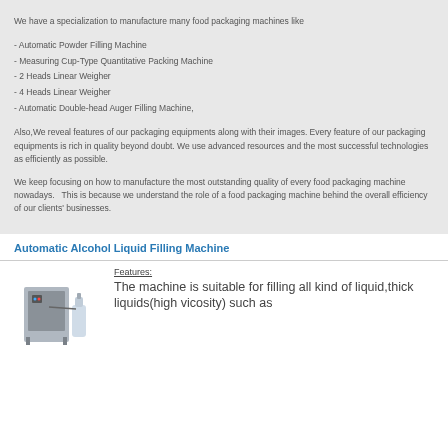We have a specialization to manufacture many food packaging machines like
- Automatic Powder Filling Machine
- Measuring Cup-Type Quantitative Packing Machine
- 2 Heads Linear Weigher
- 4 Heads Linear Weigher
- Automatic Double-head Auger Filling Machine,
Also,We reveal features of our packaging equipments along with their images. Every feature of our packaging equipments is rich in quality beyond doubt. We use advanced resources and the most successful technologies as efficiently as possible.
We keep focusing on how to manufacture the most outstanding quality of every food packaging machine nowadays.   This is because we understand the role of a food packaging machine behind the overall efficiency of our clients' businesses.
Automatic Alcohol Liquid Filling Machine
[Figure (photo): Photo of an automatic alcohol liquid filling machine]
Features:
The machine is suitable for filling all kind of liquid,thick liquids(high vicosity) such as